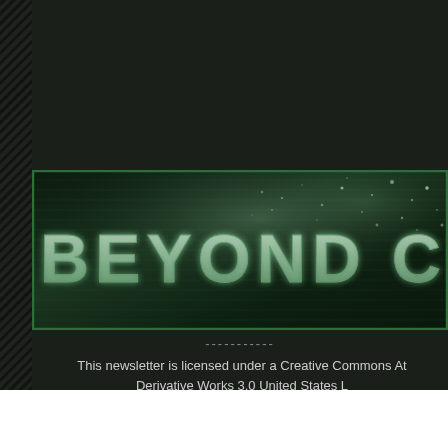[Figure (illustration): A dark green banner image with glowing particle effects showing the text 'BEYOND CRE...' (truncated) in a stylized, textured font. The image has a dark background with teal/green glow and scattered light particles. Bordered by a green rectangle outline.]
-----------
This newsletter is licensed under a Creative Commons At... Derivative Works 3.0 United States L...